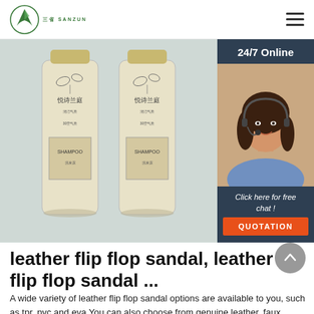SANZUN logo and navigation
[Figure (photo): Two shampoo bottles with floral design labeled SHAMPOO in Chinese branding next to a customer service chat widget showing a smiling woman with headset, '24/7 Online' text, 'Click here for free chat!' and QUOTATION button]
leather flip flop sandal, leather flip flop sandal ...
A wide variety of leather flip flop sandal options are available to you, such as tpr, pvc and eva.You can also choose from genuine leather, faux suede, and pu leather flip flop sandal, As well as f